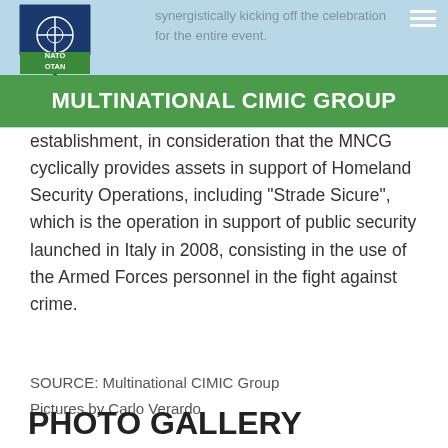[Figure (logo): NATO OTAN shield logo in top left corner of a light blue banner header]
MULTINATIONAL CIMIC GROUP
synergistically kicking off the celebration for the entire event. In this regard, the unit also wanted to be present in the year of the...
establishment, in consideration that the MNCG cyclically provides assets in support of Homeland Security Operations, including "Strade Sicure", which is the operation in support of public security launched in Italy in 2008, consisting in the use of the Armed Forces personnel in the fight against crime.
SOURCE: Multinational CIMIC Group
Pictures by Carlo Verardo
PHOTO GALLERY